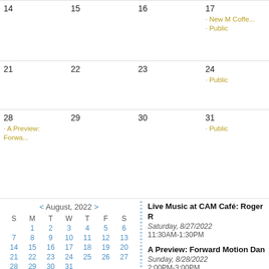| 14 | 15 | 16 | 17 |
| 21 | 22 | 23 | 24 |
| 28 | 29 | 30 | 31 |
[Figure (other): Mini calendar for August 2022 showing dates 1-31 in a S M T W T F S grid layout]
Live Music at CAM Café: Roger B
Saturday, 8/27/2022
11:30AM-1:30PM
A Preview: Forward Motion Dan
Sunday, 8/28/2022
2:00PM-3:00PM
Forward Motion Dance will bring choreography to CAM. Enjoy dane the artists interact with the audien